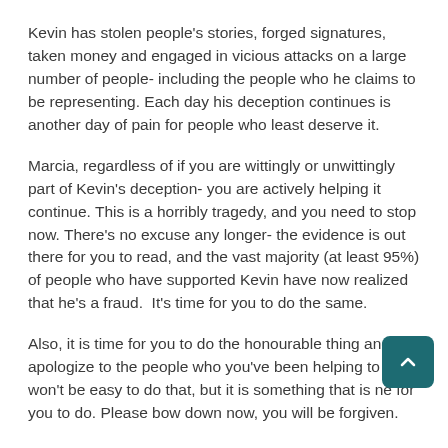Kevin has stolen people's stories, forged signatures, taken money and engaged in vicious attacks on a large number of people- including the people who he claims to be representing. Each day his deception continues is another day of pain for people who least deserve it.
Marcia, regardless of if you are wittingly or unwittingly part of Kevin's deception- you are actively helping it continue. This is a horribly tragedy, and you need to stop now. There's no excuse any longer- the evidence is out there for you to read, and the vast majority (at least 95%) of people who have supported Kevin have now realized that he's a fraud.  It's time for you to do the same.
Also, it is time for you to do the honourable thing and apologize to the people who you've been helping to h won't be easy to do that, but it is something that is ne for you to do. Please bow down now, you will be forgiven.